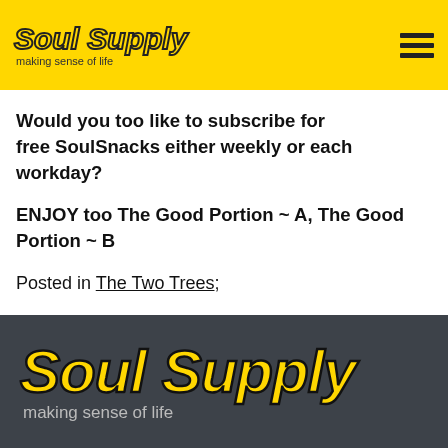Soul Supply – making sense of life
Would you too like to subscribe for free SoulSnacks either weekly or each workday?
ENJOY too The Good Portion ~ A, The Good Portion ~ B
Posted in The Two Trees;
[Figure (logo): Soul Supply logo with yellow text and tagline 'making sense of life' on dark grey footer background]